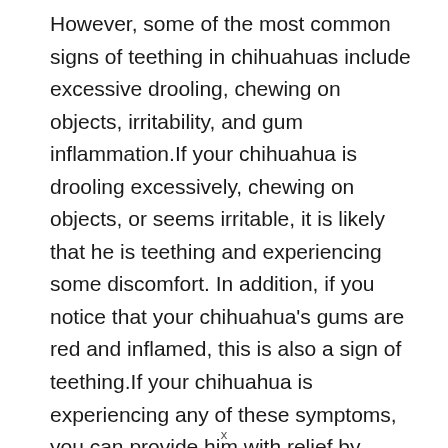However, some of the most common signs of teething in chihuahuas include excessive drooling, chewing on objects, irritability, and gum inflammation.If your chihuahua is drooling excessively, chewing on objects, or seems irritable, it is likely that he is teething and experiencing some discomfort. In addition, if you notice that your chihuahua's gums are red and inflamed, this is also a sign of teething.If your chihuahua is experiencing any of these symptoms, you can provide him with relief by giving him a cold, wet washcloth to chew on, frozen dog treats, or by gently massaging his gums. You can also talk to your
x